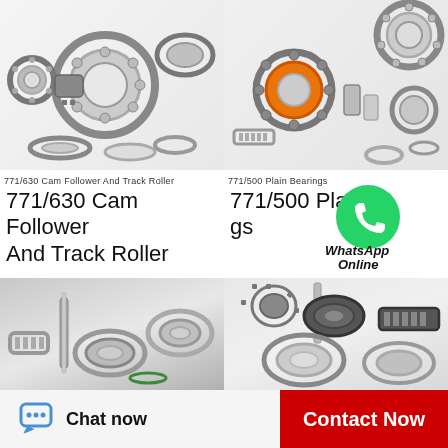[Figure (photo): Multiple cam follower and track roller bearings of various sizes scattered on white background]
771/630  Cam Follower And Track Roller
[Figure (photo): Multiple plain bearings of various sizes including one with orange seal, scattered on white background]
771/500  Plain Bearings
771/630  Cam Follower And Track Roller
771/500  Plain Bearings
[Figure (illustration): WhatsApp green circular icon with phone handset symbol, with text WhatsApp Online below]
[Figure (photo): Industrial roller bearings and needle bearings on gray gradient background, bottom left product image]
[Figure (photo): Various dark industrial bearings including tapered roller and needle bearings on light background, bottom right product image]
Chat now
Contact Now